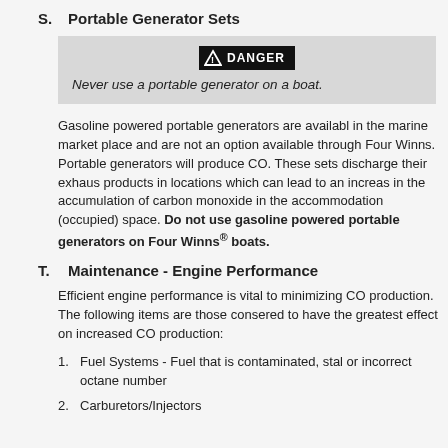S.   Portable Generator Sets
[Figure (infographic): DANGER warning box: 'Never use a portable generator on a boat.']
Gasoline powered portable generators are available in the marine market place and are not an option available through Four Winns. Portable generators will produce CO. These sets discharge their exhaust products in locations which can lead to an increase in the accumulation of carbon monoxide in the accommodation (occupied) space. Do not use gasoline powered portable generators on Four Winns® boats.
T.   Maintenance - Engine Performance
Efficient engine performance is vital to minimizing CO production. The following items are those considered to have the greatest effect on increased CO production:
Fuel Systems - Fuel that is contaminated, stale or incorrect octane number
Carburetors/Injectors